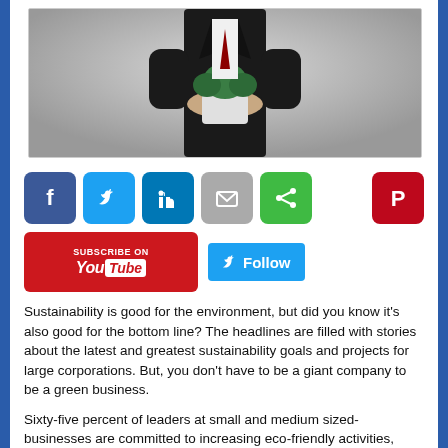[Figure (photo): A person in a dark suit holding a small potted tree/plant, photographed against a grey background. Only the torso and lower body are visible.]
[Figure (infographic): Row of social media share buttons: Facebook (blue), Twitter (blue), LinkedIn (blue), Email (grey), Share (green), and Pinterest (red) icons.]
[Figure (infographic): Subscribe on YouTube button (red) and a Twitter Follow button (blue).]
Sustainability is good for the environment, but did you know it's also good for the bottom line? The headlines are filled with stories about the latest and greatest sustainability goals and projects for large corporations. But, you don't have to be a giant company to be a green business.
Sixty-five percent of leaders at small and medium sized-businesses are committed to increasing eco-friendly activities, according to the Cox Conserves Sustainability Survey. They...